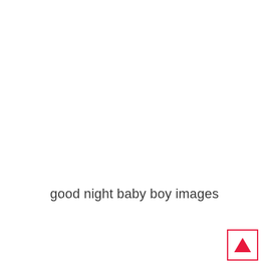good night baby boy images
[Figure (other): A small red upward-pointing triangle icon inside a red-bordered square, positioned in the bottom-right corner.]